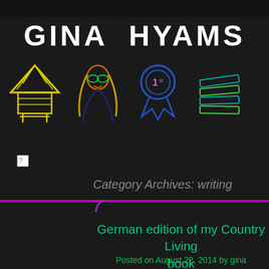GINA HYAMS
[Figure (illustration): Row of colorful hand-drawn icons: yellow thatched hut/bungalow, orange/red woman with sunglasses and long hair, blue ribbon with '1st', teal/green stack of books]
[Figure (illustration): Small broken image icon in top-left of content area]
Category Archives: writing
German edition of my Country Living book
Posted on August 22, 2014 by gina